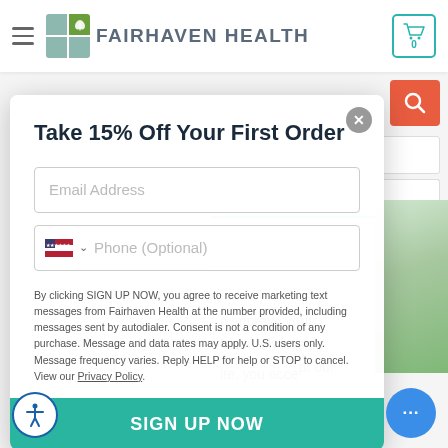[Figure (screenshot): Fairhaven Health website header with hamburger menu, logo with teal and green icon blocks, brand name 'FAIRHAVEN HEALTH' in gray, and teal-outlined shopping cart icon showing 0 items]
Take 15% Off Your First Order
By clicking SIGN UP NOW, you agree to receive marketing text messages from Fairhaven Health at the number provided, including messages sent by autodialer. Consent is not a condition of any purchase. Message and data rates may apply. U.S. users only. Message frequency varies. Reply HELP for help or STOP to cancel. View our Privacy Policy.
SIGN UP NOW
d improve your h our advertising ite, you accept our